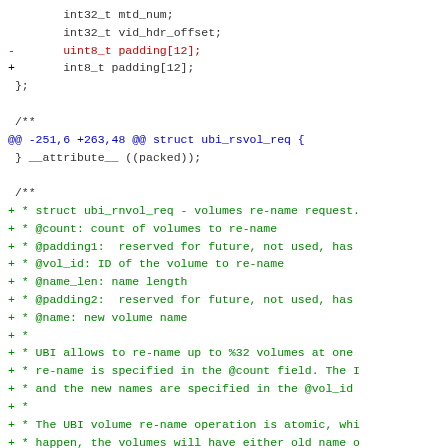Code diff showing changes to a C header file including struct fields and documentation comments for ubi_rnvol_req structure